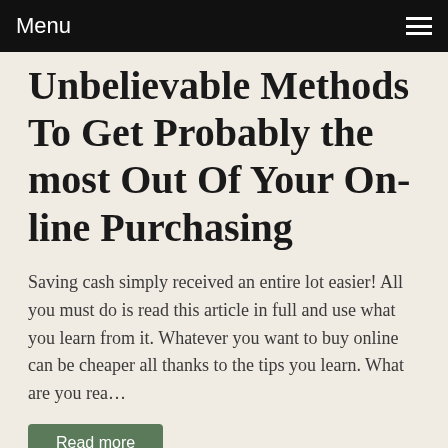Menu
Unbelievable Methods To Get Probably the most Out Of Your On-line Purchasing
Saving cash simply received an entire lot easier! All you must do is read this article in full and use what you learn from it. Whatever you want to buy online can be cheaper all thanks to the tips you learn. What are you rea…
Read more